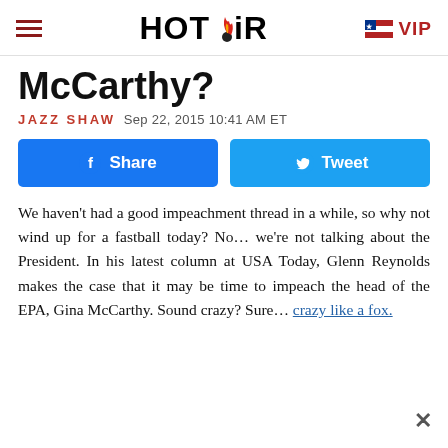HOT AIR   VIP
McCarthy?
JAZZ SHAW  Sep 22, 2015 10:41 AM ET
[Figure (other): Facebook Share button and Twitter Tweet button]
We haven't had a good impeachment thread in a while, so why not wind up for a fastball today? No… we're not talking about the President. In his latest column at USA Today, Glenn Reynolds makes the case that it may be time to impeach the head of the EPA, Gina McCarthy. Sound crazy? Sure… crazy like a fox.